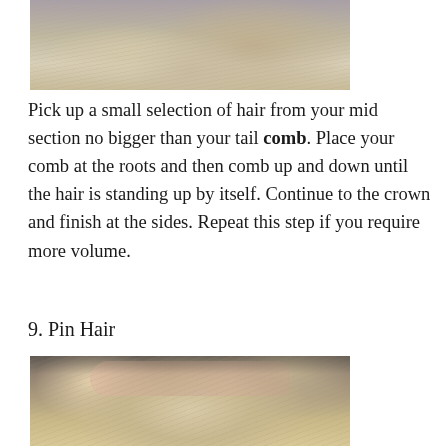[Figure (photo): Top-down view of blonde hair being picked up or sectioned, showing the crown of a person's head with light-colored hair]
Pick up a small selection of hair from your mid section no bigger than your tail comb. Place your comb at the roots and then comb up and down until the hair is standing up by itself. Continue to the crown and finish at the sides. Repeat this step if you require more volume.
9. Pin Hair
[Figure (photo): Top-down view of blonde hair being pinned with a hair pin, with two hands visible inserting a hairpin into the hair at the crown]